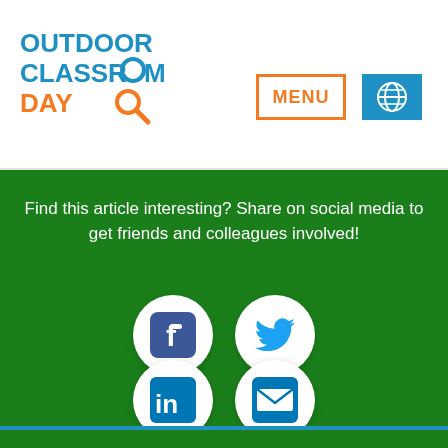[Figure (logo): Outdoor Classroom Day logo with magnifying glass icon]
[Figure (screenshot): MENU button with orange border and globe icon button in blue]
Find this article interesting? Share on social media to get friends and colleagues involved!
[Figure (infographic): Four social media sharing icons in white circles on green background: Facebook, Twitter, LinkedIn, Email]